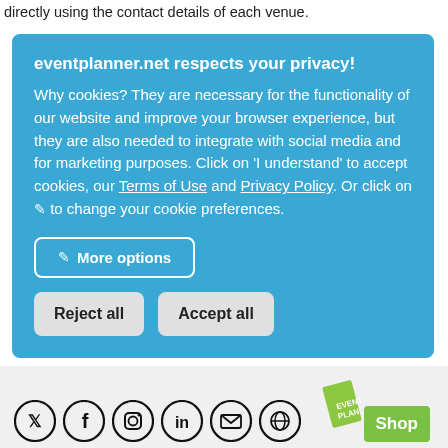directly using the contact details of each venue.
eventplanner.net respects your privacy! Why cookies? They are necessary for the functionality of our website and improve your browser experience, but they are also needed to integrate with social media and for marketing purposes. Click on 'I understand' to accept cookies, our Terms of Use and Privacy Policy. Or click on ✎ to change your cookie preferences.
✎ More options
Reject all
Accept all
[Figure (other): Social media icons (Twitter, Facebook, Instagram, LinkedIn, Email, Globe) and a Shop button with green tag logo]